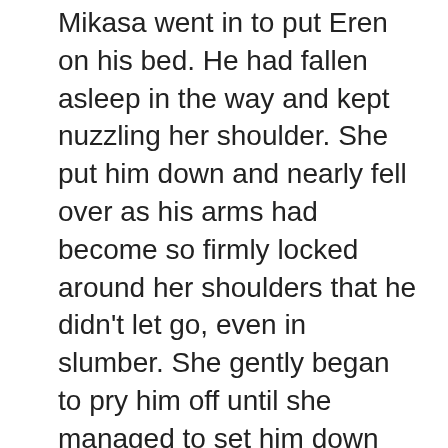Mikasa went in to put Eren on his bed. He had fallen asleep in the way and kept nuzzling her shoulder. She put him down and nearly fell over as his arms had become so firmly locked around her shoulders that he didn't let go, even in slumber. She gently began to pry him off until she managed to set him down and cover him with the blankets. The movements must have been just enough to slightly wake him. His emerald eyes opened slightly for a moment and he mouthed something that you couldn't quite catch. Mikasa seemed to understand though and smiled, blushing. They were so cute together.
You continued on your way with Levi and went up to your room, then just stood there unsure. "So now what?" You asked impatiently.
"Now you rest and recover. It's possible that by the time the current wave of titans is pushed back, it might be